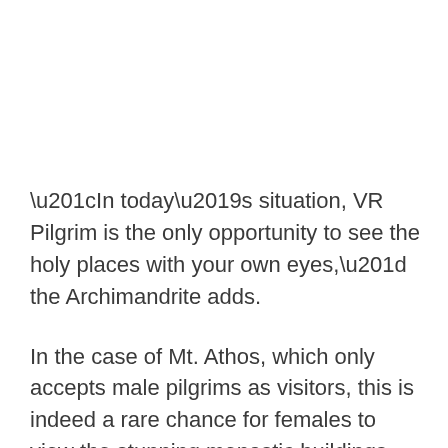“In today’s situation, VR Pilgrim is the only opportunity to see the holy places with your own eyes,” the Archimandrite adds.
In the case of Mt. Athos, which only accepts male pilgrims as visitors, this is indeed a rare chance for females to view the stunning monastic buildings constructed atop the mountainous crags of the peninsula.